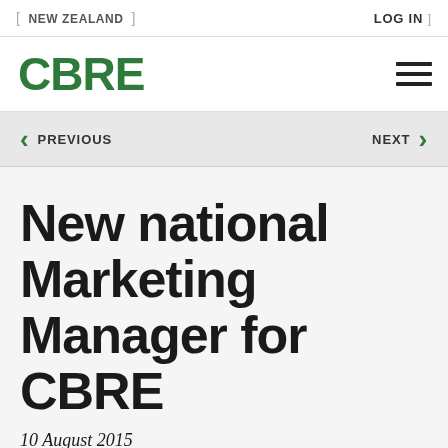NEW ZEALAND
LOG IN
[Figure (logo): CBRE company logo in green]
PREVIOUS
NEXT
New national Marketing Manager for CBRE
10 August 2015